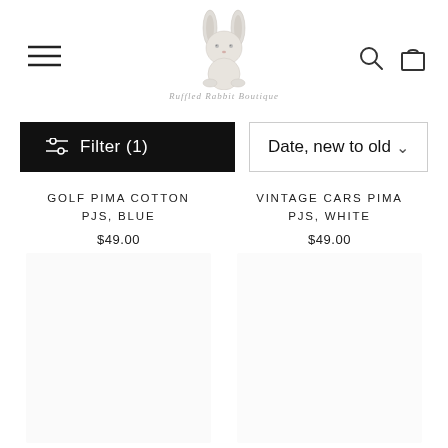Ruffled Rabbit Boutique
Filter (1)
Date, new to old
VINTAGE CARS PIMA PJS, WHITE
$49.00
GOLF PIMA COTTON PJS, BLUE
$49.00